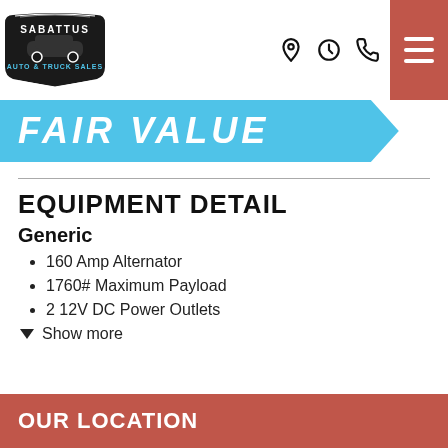[Figure (logo): Sabattus Auto & Truck Sales logo — dark badge shape with text and car silhouette]
Sabattus Auto & Truck Sales — navigation header with location, hours, phone icons and hamburger menu
FAIR VALUE
EQUIPMENT DETAIL
Generic
160 Amp Alternator
1760# Maximum Payload
2 12V DC Power Outlets
Show more
OUR LOCATION